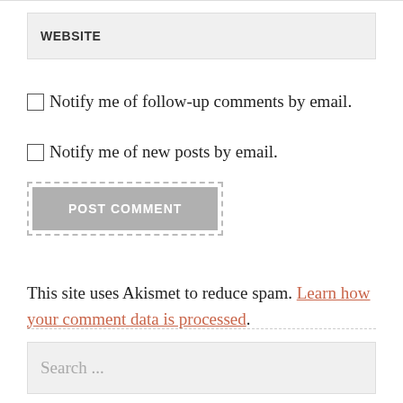WEBSITE
Notify me of follow-up comments by email.
Notify me of new posts by email.
POST COMMENT
This site uses Akismet to reduce spam. Learn how your comment data is processed.
Search ...